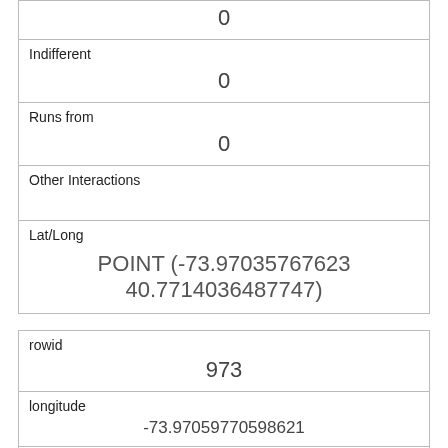| (label: blank) | 0 |
| Indifferent | 0 |
| Runs from | 0 |
| Other Interactions |  |
| Lat/Long | POINT (-73.97035767623 40.7714036487747) |
| rowid | 973 |
| longitude | -73.97059770598621 |
| latitude | 40.7760413182276 |
| Unique Squirrel ID | 13E-AM-1017-09 |
| Hectare | 13E |
| Shift |  |